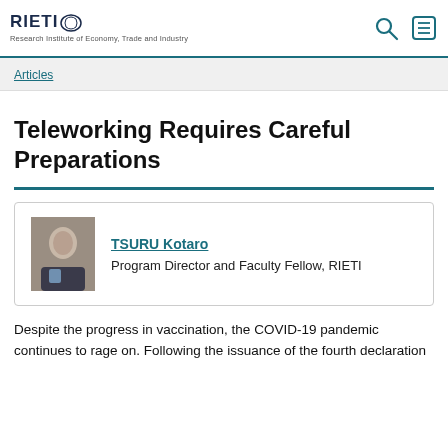RIETI - Research Institute of Economy, Trade and Industry
Articles
Teleworking Requires Careful Preparations
TSURU Kotaro
Program Director and Faculty Fellow, RIETI
Despite the progress in vaccination, the COVID-19 pandemic continues to rage on. Following the issuance of the fourth declaration